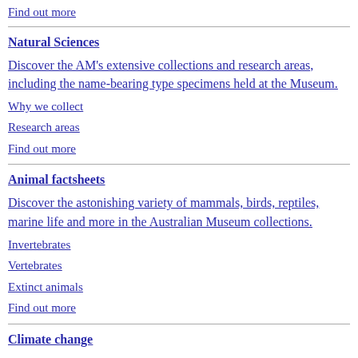Find out more
Natural Sciences
Discover the AM's extensive collections and research areas, including the name-bearing type specimens held at the Museum.
Why we collect
Research areas
Find out more
Animal factsheets
Discover the astonishing variety of mammals, birds, reptiles, marine life and more in the Australian Museum collections.
Invertebrates
Vertebrates
Extinct animals
Find out more
Climate change